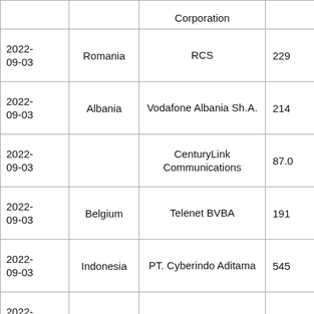| Date | Country | Operator/Corporation | Value |
| --- | --- | --- | --- |
| 2022-09-03 | Romania | RCS | 229 |
| 2022-09-03 | Albania | Vodafone Albania Sh.A. | 214 |
| 2022-09-03 |  | CenturyLink Communications | 87.0 |
| 2022-09-03 | Belgium | Telenet BVBA | 191 |
| 2022-09-03 | Indonesia | PT. Cyberindo Aditama | 545 |
| 2022-09-03 |  | MTC | 549 |